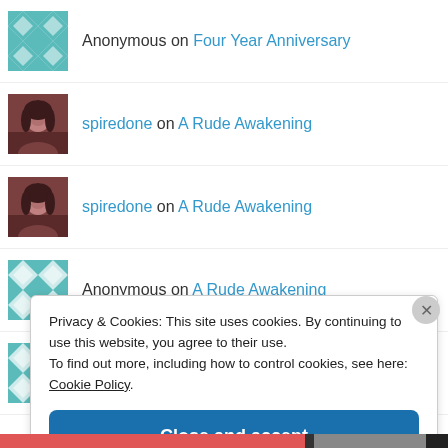Anonymous on Four Year Anniversary
spiredone on A Rude Awakening
spiredone on A Rude Awakening
Anonymous on A Rude Awakening
Anonymous on A Rude Awakening
Privacy & Cookies: This site uses cookies. By continuing to use this website, you agree to their use.
To find out more, including how to control cookies, see here: Cookie Policy.
Close and accept